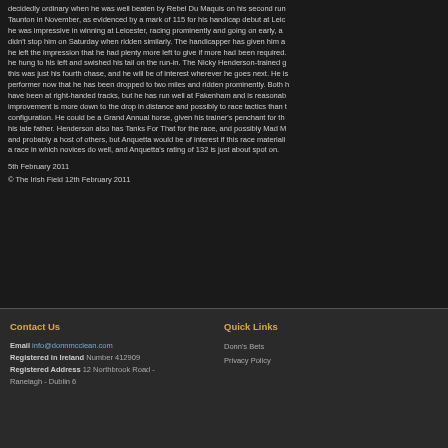decidedly ordinary when he was well beaten by Rebel Du Maquis on his second run Taunton in November, as evidenced by a mark of 115 for his handicap debut at Leic he was impressive in winning at Leicester, racing prominently and going on early, a didn't stop him on Saturday when ridden similarly. The handicapper has given him a he left the impression that he had plenty more left to give if more had been required. he hung to his left and swished his tail on the run-in. The Nicky Henderson-trained g this was just his fourth chase, and he will be of interest wherever he goes next. He is performer now that he has been dropped to two miles and ridden prominently. Both h have been at right-handed tracks, but he has run well at Fakenham and is reasonab improvement is more down to the drop in distance and possibly to race tactics than t configuration. He could be a Grand Annual horse, given his trainer's penchant for th his late father. Henderson also has Tanks For That for the race, and possibly Mad M and probably a host of others, but Anquetta would be of interest if this race materiali a race in which novices do well, and Anquetta's rating of 132 is just about spot on.
5th February 2011
© The Irish Field 12th February 2011
Contact Us
Email info@donnmcclean.com
Registered in Ireland Number 412909
Registered Address 12 Northbrook Road - Ranelagh - Dublin 6
Quick Links
Donn's Bets
Privacy Policy